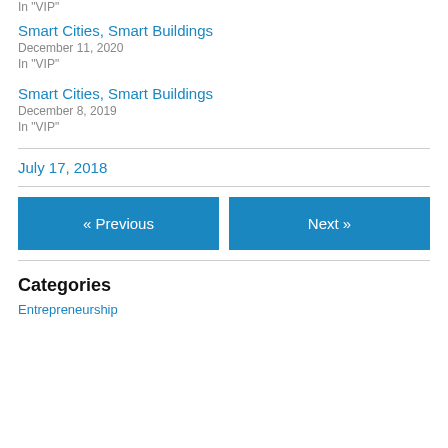In "VIP"
Smart Cities, Smart Buildings
December 11, 2020
In "VIP"
Smart Cities, Smart Buildings
December 8, 2019
In "VIP"
July 17, 2018
« Previous
Next »
Categories
Entrepreneurship